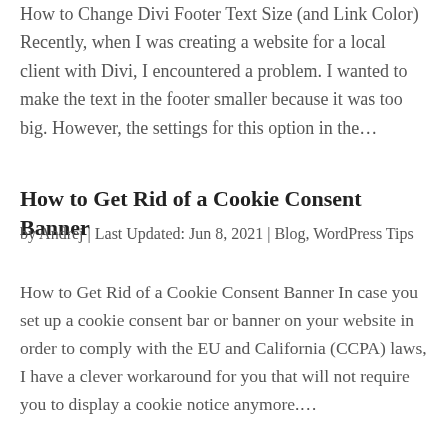How to Change Divi Footer Text Size (and Link Color) Recently, when I was creating a website for a local client with Divi, I encountered a problem. I wanted to make the text in the footer smaller because it was too big. However, the settings for this option in the…
How to Get Rid of a Cookie Consent Banner
by Andrej | Last Updated: Jun 8, 2021 | Blog, WordPress Tips
How to Get Rid of a Cookie Consent Banner In case you set up a cookie consent bar or banner on your website in order to comply with the EU and California (CCPA) laws, I have a clever workaround for you that will not require you to display a cookie notice anymore.…